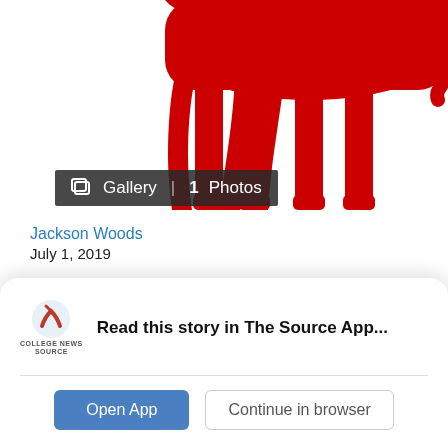[Figure (illustration): Red silhouette of a donkey (Democratic Party symbol) on white background, cropped showing legs and lower body]
Gallery | 1 Photos
Jackson Woods
July 1, 2019
There are a lot of people running to be the Democratic candidate for President in 2020. That isn't necessarily unusual (Vermin Supreme,
Read this story in The Source App...
Open App
Continue in browser